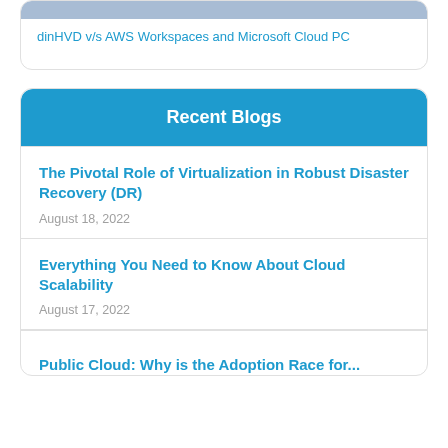dinHVD v/s AWS Workspaces and Microsoft Cloud PC
Recent Blogs
The Pivotal Role of Virtualization in Robust Disaster Recovery (DR)
August 18, 2022
Everything You Need to Know About Cloud Scalability
August 17, 2022
Public Cloud: Why is the Adoption Race for...